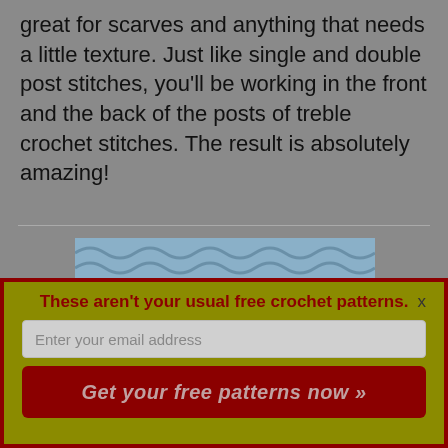great for scarves and anything that needs a little texture. Just like single and double post stitches, you'll be working in the front and the back of the posts of treble crochet stitches. The result is absolutely amazing!
[Figure (photo): Close-up photo of crochet stitches in blue and pink yarn showing treble post stitch texture pattern]
These aren't your usual free crochet patterns.
Enter your email address
Get your free patterns now »